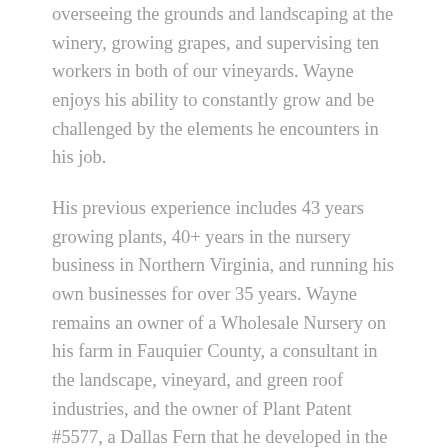overseeing the grounds and landscaping at the winery, growing grapes, and supervising ten workers in both of our vineyards. Wayne enjoys his ability to constantly grow and be challenged by the elements he encounters in his job.
His previous experience includes 43 years growing plants, 40+ years in the nursery business in Northern Virginia, and running his own businesses for over 35 years. Wayne remains an owner of a Wholesale Nursery on his farm in Fauquier County, a consultant in the landscape, vineyard, and green roof industries, and the owner of Plant Patent #5577, a Dallas Fern that he developed in the 1980s. Wayne is a Certified Greenroof Professional and holds a Master's Degree from the School of Life and Experiences, College of Hard Knocks. He is a member of the following professional organizations: Virginia Vineyards Association, Northern Virginia Nursery and Landscape Association, and the Virginia